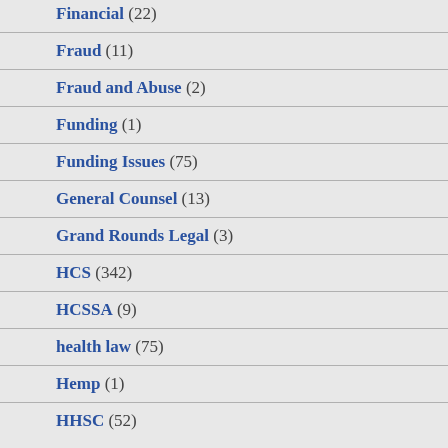Financial (22)
Fraud (11)
Fraud and Abuse (2)
Funding (1)
Funding Issues (75)
General Counsel (13)
Grand Rounds Legal (3)
HCS (342)
HCSSA (9)
health law (75)
Hemp (1)
HHSC (52)